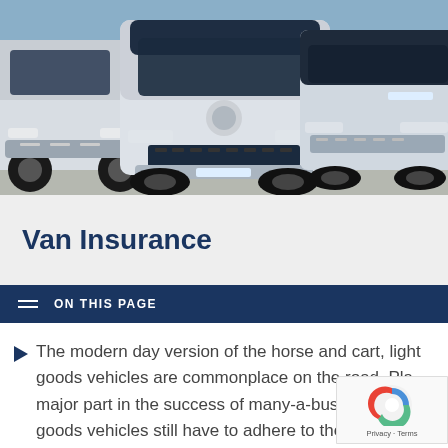[Figure (photo): Three white commercial vans/light goods vehicles parked front-facing in a parking area, viewed from a slightly elevated angle. Dark navy and white color scheme.]
Van Insurance
ON THIS PAGE
The modern day version of the horse and cart, light goods vehicles are commonplace on the road. Pla major part in the success of many-a-business, ligh goods vehicles still have to adhere to the same